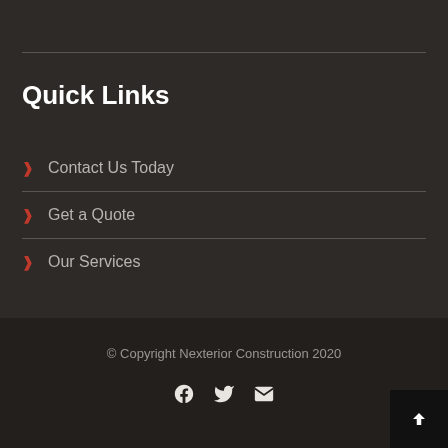Quick Links
Contact Us Today
Get a Quote
Our Services
© Copyright Nexterior Construction 2020